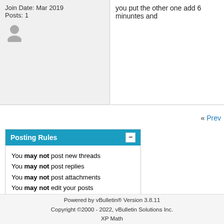Join Date: Mar 2019
Posts: 1
you put the other one add 6 minuntes and
« Prev
Posting Rules
You may not post new threads
You may not post replies
You may not post attachments
You may not edit your posts
BB code is On
Smilies are On
[IMG] code is On
HTML code is Off
Forum Rules
All times are G
Powered by vBulletin® Version 3.8.11
Copyright ©2000 - 2022, vBulletin Solutions Inc.
XP Math